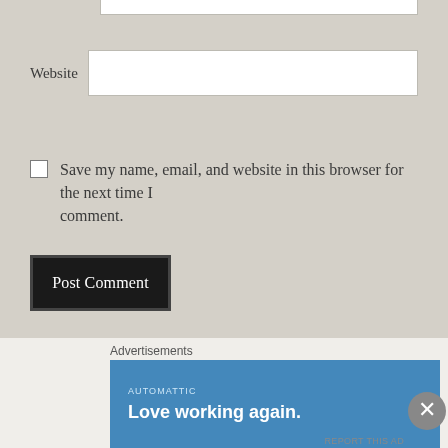Website
Save my name, email, and website in this browser for the next time I comment.
Post Comment
Notify me of new comments via email.
Notify me of new posts via email.
Advertisements
AUTOMATTIC
Love working again.